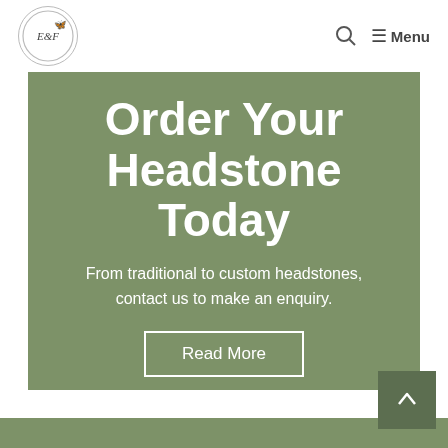E&F | Menu
Order Your Headstone Today
From traditional to custom headstones, contact us to make an enquiry.
Read More
Get in touch, we are here to help